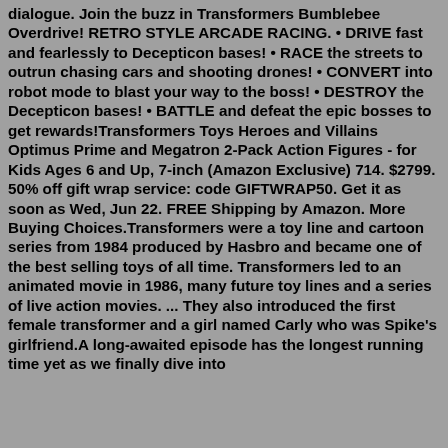dialogue. Join the buzz in Transformers Bumblebee Overdrive! RETRO STYLE ARCADE RACING. • DRIVE fast and fearlessly to Decepticon bases! • RACE the streets to outrun chasing cars and shooting drones! • CONVERT into robot mode to blast your way to the boss! • DESTROY the Decepticon bases! • BATTLE and defeat the epic bosses to get rewards!Transformers Toys Heroes and Villains Optimus Prime and Megatron 2-Pack Action Figures - for Kids Ages 6 and Up, 7-inch (Amazon Exclusive) 714. $2799. 50% off gift wrap service: code GIFTWRAP50. Get it as soon as Wed, Jun 22. FREE Shipping by Amazon. More Buying Choices.Transformers were a toy line and cartoon series from 1984 produced by Hasbro and became one of the best selling toys of all time. Transformers led to an animated movie in 1986, many future toy lines and a series of live action movies. ... They also introduced the first female transformer and a girl named Carly who was Spike's girlfriend.A long-awaited episode has the longest running time yet as we finally dive into